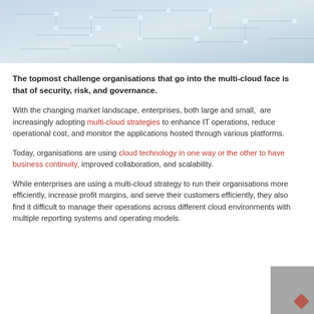[Figure (illustration): Abstract technology background with light blue circuit board lines and glowing dots on a gradient blue-gray background]
The topmost challenge organisations that go into the multi-cloud face is that of security, risk, and governance.
With the changing market landscape, enterprises, both large and small, are increasingly adopting multi-cloud strategies to enhance IT operations, reduce operational cost, and monitor the applications hosted through various platforms.
Today, organisations are using cloud technology in one way or the other to have business continuity, improved collaboration, and scalability.
While enterprises are using a multi-cloud strategy to run their organisations more efficiently, increase profit margins, and serve their customers efficiently, they also find it difficult to manage their operations across different cloud environments with multiple reporting systems and operating models.